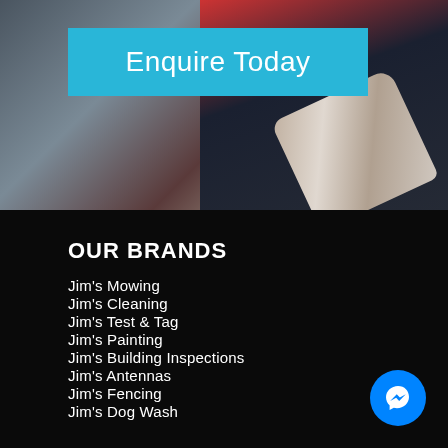[Figure (photo): Person in dark jacket holding a spray bottle, background photo for franchise service website]
Enquire Today
OUR BRANDS
Jim's Mowing
Jim's Cleaning
Jim's Test & Tag
Jim's Painting
Jim's Building Inspections
Jim's Antennas
Jim's Fencing
Jim's Dog Wash